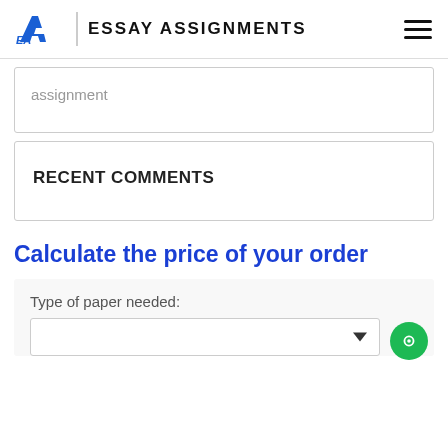EA | ESSAY ASSIGNMENTS
assignment
RECENT COMMENTS
Calculate the price of your order
Type of paper needed: